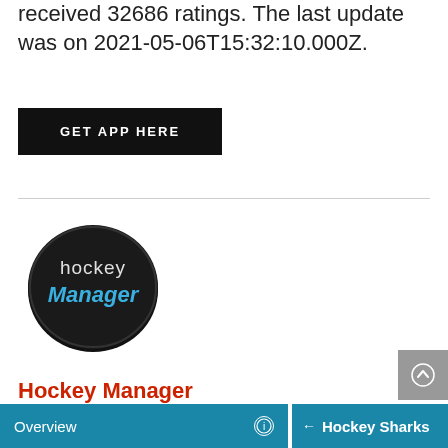received 32686 ratings. The last update was on 2021-05-06T15:32:10.000Z.
GET APP HERE
[Figure (logo): Hockey Manager app icon: black circular hockey puck with 'hockey Manager' text, 'Manager' in blue italic]
Hockey Manager
Developer: FeST Application
Overview   ← Hockey Sharks